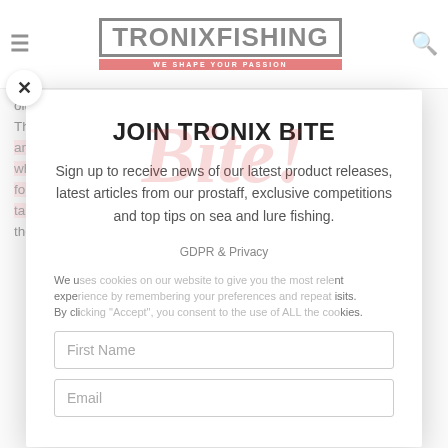TRONIXFISHING — WE SHAPE YOUR PASSION
olution that can be removed when needed. The rucksack features a padded back section, and shoulder straps, providing for a comfy fit when carrying a tackle box over longer distance for anglers who would like to use a rucksack and take their boxes everywhere with them, this is the per...
JOIN TRONIX BITE
Sign up to receive news of our latest product releases, latest articles from our prostaff, exclusive competitions and top tips on sea and lure fishing.
GDPR & Privacy
We use cookies on our website to give you the most relevant experience by remembering your preferences and repeat visits. By clicking "Accept", you consent to the use of ALL the cookies.
First Name
Email